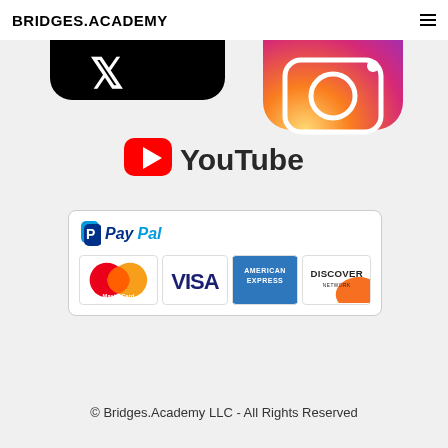BRIDGES.ACADEMY
[Figure (illustration): Social media icons — partial black rounded rectangle (X/Twitter) on left and partial Instagram gradient rounded square on right, cropped at top]
[Figure (logo): YouTube logo: red play button rectangle with white triangle, followed by 'YouTube' text in dark gray]
[Figure (illustration): PayPal payment box: PayPal logo header with MasterCard, VISA, American Express, and Discover Network card logos]
© Bridges.Academy LLC - All Rights Reserved